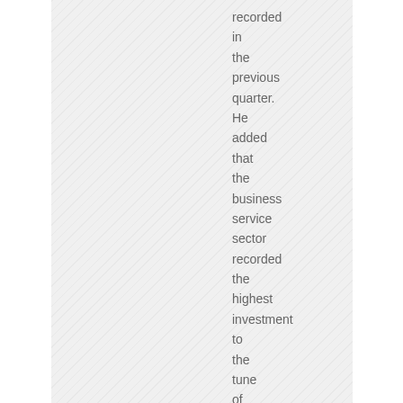[Figure (other): Hatched/diagonal striped gray panel on the left side of the page]
recorded in the previous quarter. He added that the business service sector recorded the highest investment to the tune of $17m, while agriculture